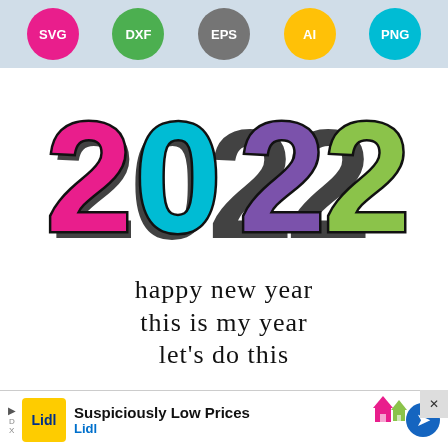[Figure (illustration): Row of five colored circular badges labeled SVG (pink), DXF (green), EPS (gray), AI (yellow), PNG (teal) on a light blue-gray background.]
[Figure (illustration): Colorful '2022' graphic with large bold numerals: '2' in hot pink, '0' in teal, '2' in purple, '2' in green, each with black outlines and drop shadow effect.]
happy new year
this is my year
let's do this
Burton Avenue
[Figure (illustration): Small house icon with pink and green colors in bottom right.]
Suspiciously Low Prices
Lidl